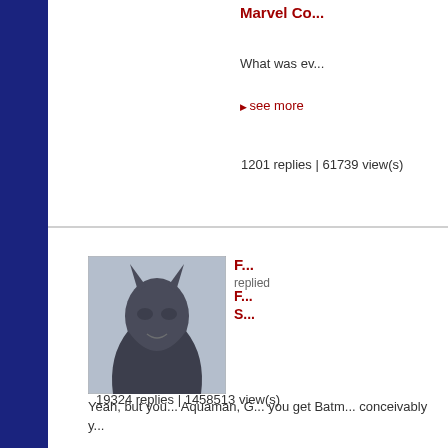Marvel Co...
What was ev...
see more
1201 replies | 61739 view(s)
[Figure (illustration): Batman avatar image]
F...
replied
F...
S...
Yeah, but you... Aquaman, G... you get Batm... conceivably y...
see more
19324 replies | 1458513 view(s)
[Figure (illustration): Batman avatar image]
F...
replied
M...
A...
Video Gam...
Bit of a bumm...
see more